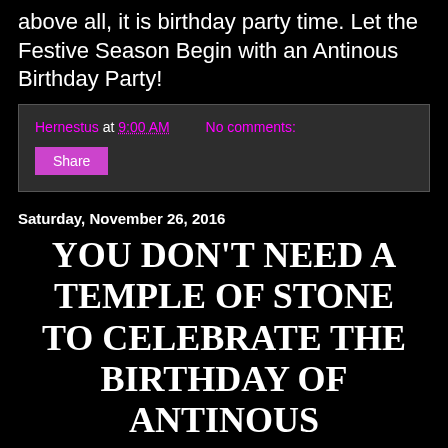above all, it is birthday party time. Let the Festive Season Begin with an Antinous Birthday Party!
Hernestus at 9:00 AM    No comments:
Share
Saturday, November 26, 2016
YOU DON'T NEED A TEMPLE OF STONE TO CELEBRATE THE BIRTHDAY OF ANTINOUS
[Figure (photo): Photograph of an ornate classical architectural facade with mosaic decorations, and a smaller framed image to the right showing a face/portrait]